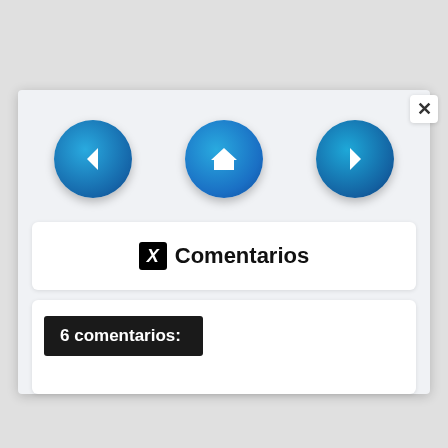[Figure (screenshot): Navigation buttons row with three circular blue gradient buttons: left arrow (back), home icon (center), right arrow (forward)]
Comentarios
6 comentarios: